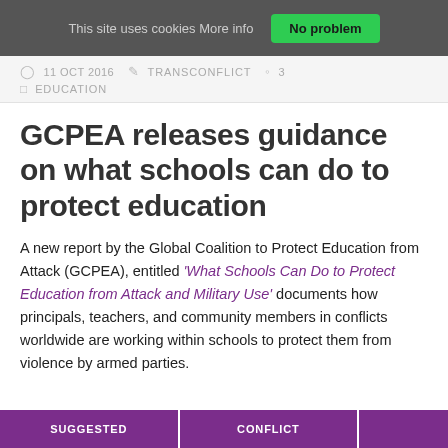This site uses cookies More info   No problem
11 OCT 2016   TRANSCONFLICT   3   EDUCATION
GCPEA releases guidance on what schools can do to protect education
A new report by the Global Coalition to Protect Education from Attack (GCPEA), entitled 'What Schools Can Do to Protect Education from Attack and Military Use' documents how principals, teachers, and community members in conflicts worldwide are working within schools to protect them from violence by armed parties.
SUGGESTED   CONFLICT